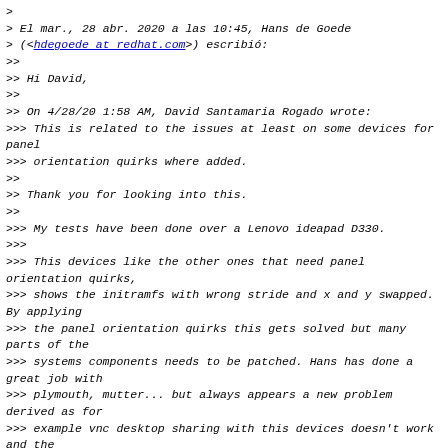> El mar., 28 abr. 2020 a las 10:45, Hans de Goede
> (<hdegoede at redhat.com>) escribió:
>>
>> Hi David,
>>
>> On 4/28/20 1:58 AM, David Santamaria Rogado wrote:
>>> This is related to the issues at least on some devices for panel
>>> orientation quirks where added.
>>
>> Thank you for looking into this.
>>
>>> My tests have been done over a Lenovo ideapad D330.
>>>
>>> This devices like the other ones that need panel orientation quirks,
>>> shows the initramfs with wrong stride and x and y swapped. By applying
>>> the panel orientation quirks this gets solved but many parts of the
>>> systems components needs to be patched. Hans has done a great job with
>>> plymouth, mutter... but always appears a new problem derived as for
>>> example vnc desktop sharing with this devices doesn't work and the
>>> output is send messed up.
>>
>> When I first started adding support for devices